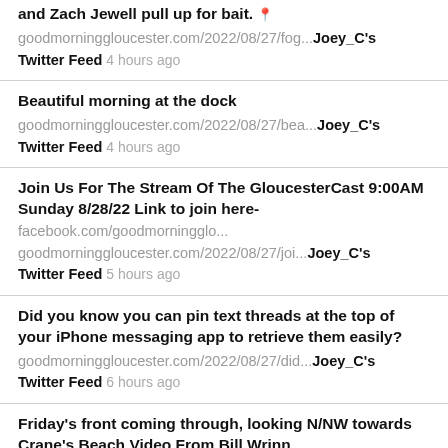and Zach Jewell pull up for bait. [pin] goodmorninggloucester.com/2022/08/27/fog... Joey_C's Twitter Feed 4 hours ago
Beautiful morning at the dock goodmorninggloucester.com/2022/08/27/bea... Joey_C's Twitter Feed 4 hours ago
Join Us For The Stream Of The GloucesterCast 9:00AM Sunday 8/28/22 Link to join here- facebook.com/goodmorningglo... goodmorninggloucester.com/2022/08/27/joi... Joey_C's Twitter Feed 5 hours ago
Did you know you can pin text threads at the top of your iPhone messaging app to retrieve them easily? goodmorninggloucester.com/2022/08/27/did... Joey_C's Twitter Feed 6 hours ago
Friday's front coming through, looking N/NW towards Crane's Beach Video From Bill Wrinn goodmorninggloucester.com/2022/08/27/fri... Joey_C's Twitter Feed 8 hours ago